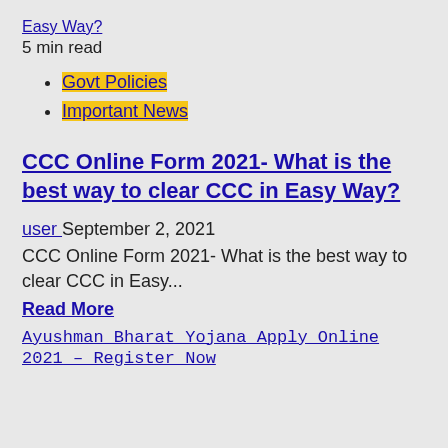Easy Way? 5 min read
Govt Policies
Important News
CCC Online Form 2021- What is the best way to clear CCC in Easy Way?
user September 2, 2021
CCC Online Form 2021- What is the best way to clear CCC in Easy...
Read More
Ayushman Bharat Yojana Apply Online 2021 – Register Now